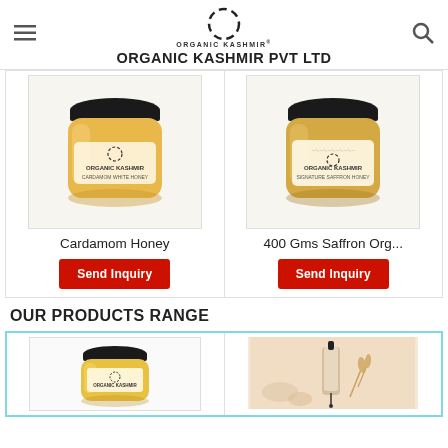ORGANIC KASHMIR PVT LTD
[Figure (photo): Jar of Cardamom White Honey with black lid, Organic Kashmir branding]
Cardamom Honey
Send Inquiry
[Figure (photo): Jar of Signature Saffron Honey with black lid, Organic Kashmir branding]
400 Gms Saffron Org...
Send Inquiry
OUR PRODUCTS RANGE
[Figure (photo): Small jar of yellow honey with black lid]
[Figure (photo): Dropper bottle with essential oil on peach background]